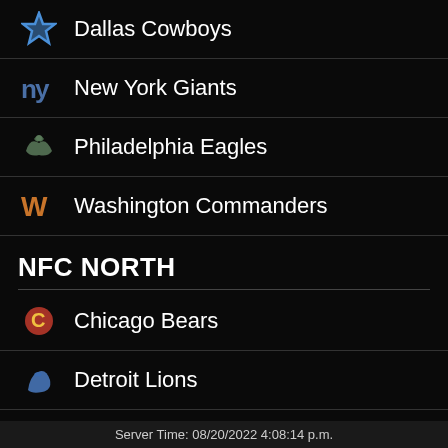Dallas Cowboys
New York Giants
Philadelphia Eagles
Washington Commanders
NFC NORTH
Chicago Bears
Detroit Lions
Green Bay Packers
Minnesota Vikings
Server Time: 08/20/2022 4:08:14 p.m.